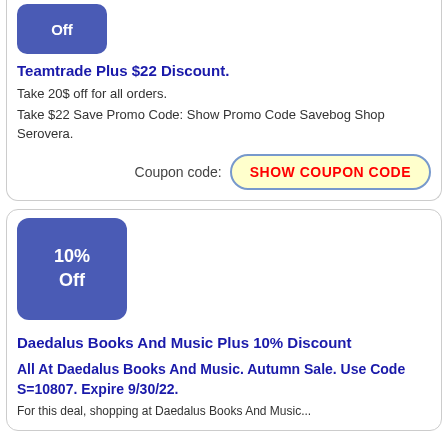[Figure (other): Blue badge showing 'Off' (partial, top card)]
Teamtrade Plus $22 Discount.
Take 20$ off for all orders.
Take $22 Save Promo Code: Show Promo Code Savebog Shop Serovera.
Coupon code: SHOW COUPON CODE
[Figure (other): Blue badge showing '10% Off']
Daedalus Books And Music Plus 10% Discount
All At Daedalus Books And Music. Autumn Sale. Use Code S=10807. Expire 9/30/22.
For this deal, shopping at Daedalus Books And Music...